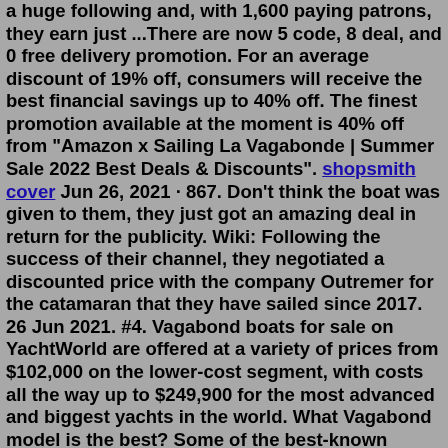a huge following and, with 1,600 paying patrons, they earn just ...There are now 5 code, 8 deal, and 0 free delivery promotion. For an average discount of 19% off, consumers will receive the best financial savings up to 40% off. The finest promotion available at the moment is 40% off from "Amazon x Sailing La Vagabonde | Summer Sale 2022 Best Deals & Discounts". shopsmith cover Jun 26, 2021 · 867. Don't think the boat was given to them, they just got an amazing deal in return for the publicity. Wiki: Following the success of their channel, they negotiated a discounted price with the company Outremer for the catamaran that they have sailed since 2017. 26 Jun 2021. #4. Vagabond boats for sale on YachtWorld are offered at a variety of prices from $102,000 on the lower-cost segment, with costs all the way up to $249,900 for the most advanced and biggest yachts in the world. What Vagabond model is the best? Some of the best-known Vagabond models now listed include: 47, 52, 52 STAYSAIL SCHOONER and Cutter Rigged ... If you are looking for low maintenance